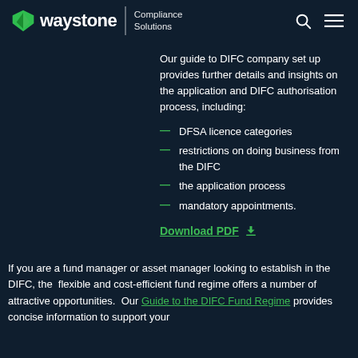waystone | Compliance Solutions
Our guide to DIFC company set up provides further details and insights on the application and DIFC authorisation process, including:
DFSA licence categories
restrictions on doing business from the DIFC
the application process
mandatory appointments.
Download PDF
If you are a fund manager or asset manager looking to establish in the DIFC, the  flexible and cost-efficient fund regime offers a number of attractive opportunities.  Our Guide to the DIFC Fund Regime provides concise information to support your decision making.